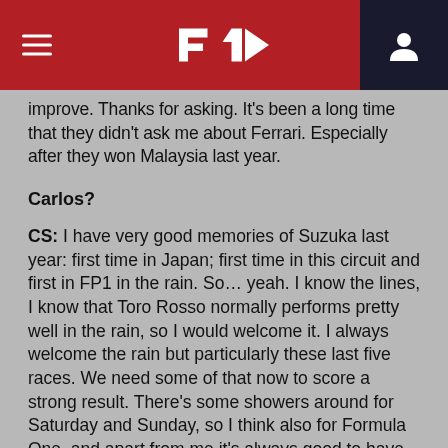F1 Logo header navigation
improve. Thanks for asking. It's been a long time that they didn't ask me about Ferrari. Especially after they won Malaysia last year.
Carlos?
CS: I have very good memories of Suzuka last year: first time in Japan; first time in this circuit and first in FP1 in the rain. So… yeah. I know the lines, I know that Toro Rosso normally performs pretty well in the rain, so I would welcome it. I always welcome the rain but particularly these last five races. We need some of that now to score a strong result. There's some showers around for Saturday and Sunday, so I think also for Formula One, and apart from me it's always good to have some mixed-weather races.
Q: (Kate Walker – Motorsport.com) Two questions for Fernando please: first of all, I was wondering what you think of Honda's philosophy and of their engineering ability? And secondly, I was wondering if you could say how